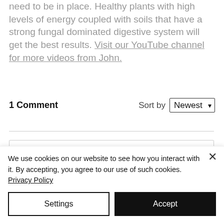need to be in place. Healthy plants with high levels of energy coupled with soils that have a strong fungal dominated digestive system will get the best results. Visit our YouTube channel for more videos from John.
1 Comment   Sort by Newest
Add a comment...
We use cookies on our website to see how you interact with it. By accepting, you agree to our use of such cookies. Privacy Policy
Settings
Accept